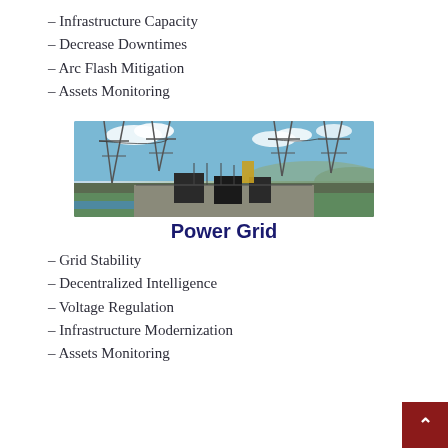– Infrastructure Capacity
– Decrease Downtimes
– Arc Flash Mitigation
– Assets Monitoring
[Figure (photo): Aerial view of a power substation with transmission towers, transformers, and switchgear equipment, blue sky with clouds in background, green grass and blue water channel visible]
Power Grid
– Grid Stability
– Decentralized Intelligence
– Voltage Regulation
– Infrastructure Modernization
– Assets Monitoring